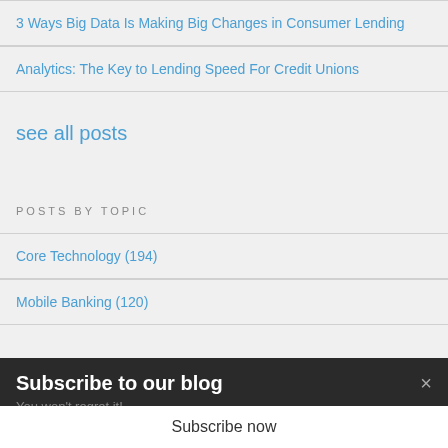3 Ways Big Data Is Making Big Changes in Consumer Lending
Analytics: The Key to Lending Speed For Credit Unions
see all posts
POSTS BY TOPIC
Core Technology (194)
Mobile Banking (120)
Subscribe to our blog
You won't regret it!
Subscribe now